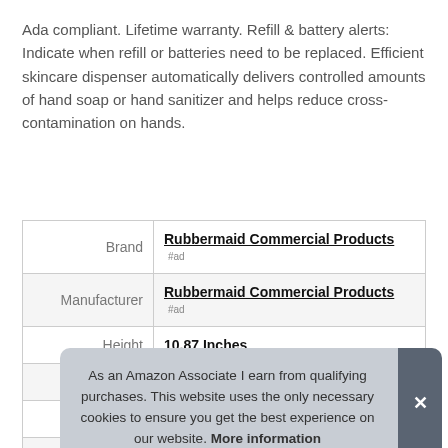Ada compliant. Lifetime warranty. Refill & battery alerts: Indicate when refill or batteries need to be replaced. Efficient skincare dispenser automatically delivers controlled amounts of hand soap or hand sanitizer and helps reduce cross-contamination on hands.
|  |  |
| --- | --- |
| Brand | Rubbermaid Commercial Products #ad |
| Manufacturer | Rubbermaid Commercial Products #ad |
| Height | 10.87 Inches |
| Length | 5.2 Inches |
| P |  |
| Model | FG750127 |
As an Amazon Associate I earn from qualifying purchases. This website uses the only necessary cookies to ensure you get the best experience on our website. More information